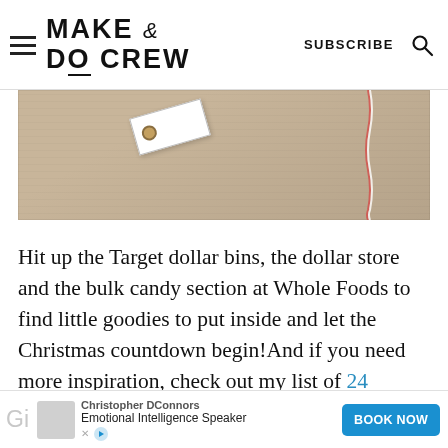MAKE & DO CREW | SUBSCRIBE
[Figure (photo): Partial photo of kraft paper background with a white gift tag and red-and-white twine]
Hit up the Target dollar bins, the dollar store and the bulk candy section at Whole Foods to find little goodies to put inside and let the Christmas countdown begin!And if you need more inspiration, check out my list of 24 Advent Calendar
[Figure (other): Advertisement banner: Christopher DConnors, Emotional Intelligence Speaker, BOOK NOW button]